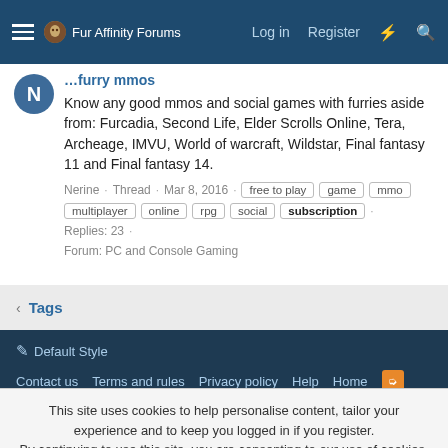Fur Affinity Forums | Log in | Register
Know any good mmos and social games with furries aside from: Furcadia, Second Life, Elder Scrolls Online, Tera, Archeage, IMVU, World of warcraft, Wildstar, Final fantasy 11 and Final fantasy 14.
Nerine · Thread · Mar 8, 2016 · free to play · game · mmo · multiplayer · online · rpg · social · subscription · Replies: 23 · Forum: PC and Console Gaming
Tags
Default Style
Contact us · Terms and rules · Privacy policy · Help · Home
Community platform by XenForo® © 2010-2021 XenForo Ltd.
This site uses cookies to help personalise content, tailor your experience and to keep you logged in if you register. By continuing to use this site, you are consenting to our use of cookies.